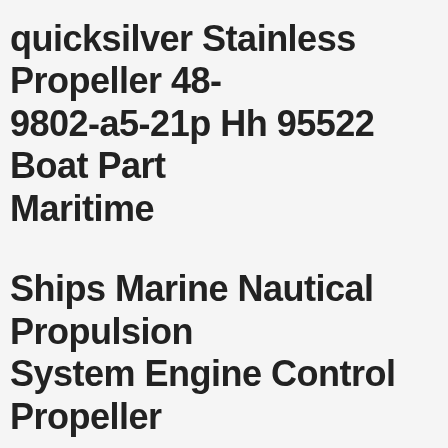quicksilver Stainless Propeller 48-9802-a5-21p Hh 95522 Boat Part Maritime
Ships Marine Nautical Propulsion System Engine Control Propeller
Decoration Man Cave Nibral 20" X 18 Pitch 4 Blade Right Hand Boat Propeller. Propeller Is Best Suited As A Decoration. Tns Marine Llc Is An Authorized Rubex Solas Propeller Dealer. Marked Pitch 218. Right Hand (clockwise) Rotation. Stay Tuned For Marine Parts, Boats And Trailers, Collectibles, Plus More!